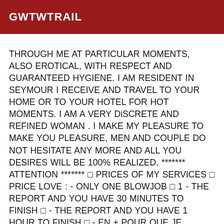GWTWTRAIL
THROUGH ME AT PARTICULAR MOMENTS, ALSO EROTICAL, WITH RESPECT AND GUARANTEED HYGIENE. I AM RESIDENT IN SEYMOUR I RECEIVE AND TRAVEL TO YOUR HOME OR TO YOUR HOTEL FOR HOT MOMENTS. I AM A VERY DiSCRETE AND REFINED WOMAN . I MAKE MY PLEASURE TO MAKE YOU PLEASURE, MEN AND COUPLE DO NOT HESITATE ANY MORE AND ALL YOU DESIRES WILL BE 100% REALIZED. ******* ATTENTION ******* ⊡ PRICES OF MY SERVICES ⊡ PRICE LOVE : - ONLY ONE BLOWJOB ⊡ 1 - THE REPORT AND YOU HAVE 30 MINUTES TO FINISH ⊡ - THE REPORT AND YOU HAVE 1 HOUR TO FINISH ⊡ - EN + POUR QUE JE JOUISSE ⊡ 500 E - 1 HOUR WITH COUPLE ⊡ 500 E - 1H30 TO MOVE TO SEYMOUR ⊡ ⊡ AT YOUR HOME OR HOTEL IN SEYMOUR ⊡ R03;—————————- PRICE DOMINATION : - THE DOMINATION REPORT